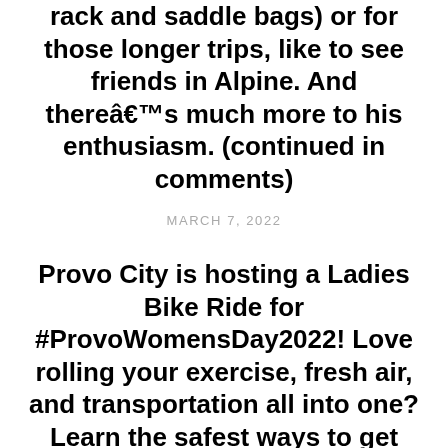rack and saddle bags) or for those longer trips, like to see friends in Alpine. And thereâs much more to his enthusiasm. (continued in comments)
MARCH 7, 2022
Provo City is hosting a Ladies Bike Ride for #ProvoWomensDay2022! Love rolling your exercise, fresh air, and transportation all into one? Learn the safest ways to get around Provo on two wheels at an easy-going pace, while